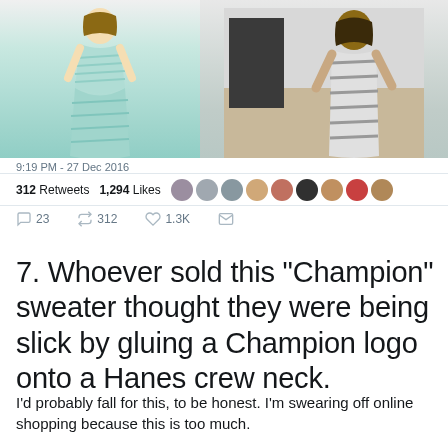[Figure (photo): Two side-by-side photos: left shows a model wearing a light teal/mint striped maxi dress on a white background; right shows a person wearing a gray and white striped bodycon dress indoors.]
9:19 PM - 27 Dec 2016
312 Retweets  1,294 Likes
23  312  1.3K
7. Whoever sold this "Champion" sweater thought they were being slick by gluing a Champion logo onto a Hanes crew neck.
I'd probably fall for this, to be honest. I'm swearing off online shopping because this is too much.